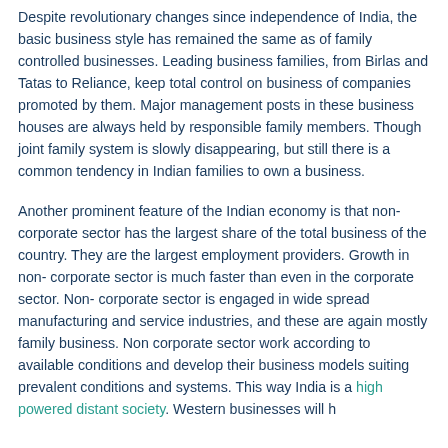Despite revolutionary changes since independence of India, the basic business style has remained the same as of family controlled businesses. Leading business families, from Birlas and Tatas to Reliance, keep total control on business of companies promoted by them. Major management posts in these business houses are always held by responsible family members. Though joint family system is slowly disappearing, but still there is a common tendency in Indian families to own a business.
Another prominent feature of the Indian economy is that non-corporate sector has the largest share of the total business of the country. They are the largest employment providers. Growth in non- corporate sector is much faster than even in the corporate sector. Non- corporate sector is engaged in wide spread manufacturing and service industries, and these are again mostly family business. Non corporate sector work according to available conditions and develop their business models suiting prevalent conditions and systems. This way India is a high powered distant society. Western businesses will h... to accept family authority while negotiating business deals with...